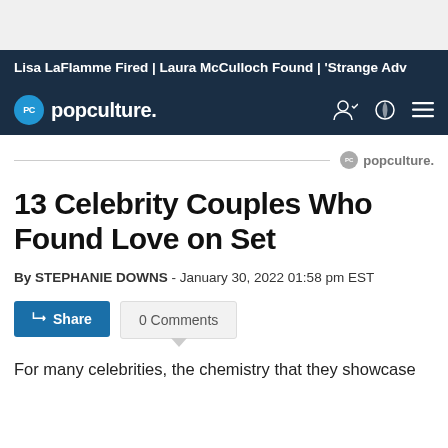Lisa LaFlamme Fired | Laura McCulloch Found | 'Strange Adv
PC popculture.
[Figure (logo): Popculture.com logo with PC icon on dark navy navigation bar with user, theme, and menu icons]
[Figure (logo): PC popculture watermark logo on divider line]
13 Celebrity Couples Who Found Love on Set
By STEPHANIE DOWNS - January 30, 2022 01:58 pm EST
0 Comments
For many celebrities, the chemistry that they showcase